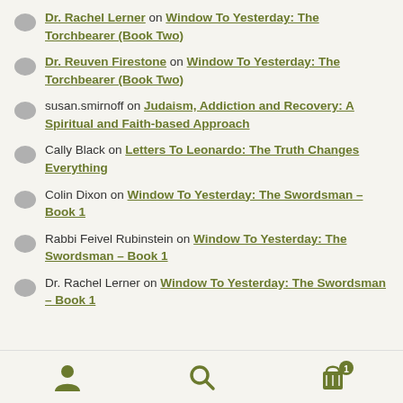Dr. Rachel Lerner on Window To Yesterday: The Torchbearer (Book Two)
Dr. Reuven Firestone on Window To Yesterday: The Torchbearer (Book Two)
susan.smirnoff on Judaism, Addiction and Recovery: A Spiritual and Faith-based Approach
Cally Black on Letters To Leonardo: The Truth Changes Everything
Colin Dixon on Window To Yesterday: The Swordsman – Book 1
Rabbi Feivel Rubinstein on Window To Yesterday: The Swordsman – Book 1
Dr. Rachel Lerner on Window To Yesterday: The Swordsman – Book 1
[Figure (infographic): Bottom navigation bar with three icons: person/user icon, search/magnify icon, and shopping cart icon with badge showing '1']